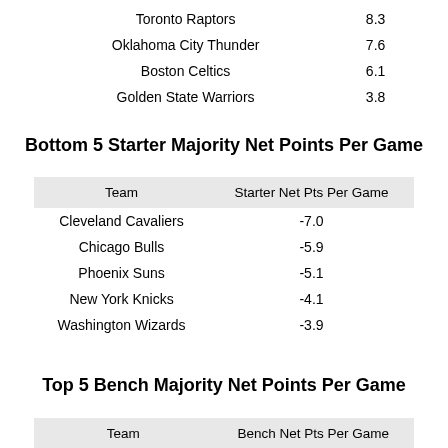| Team | Starter Net Pts Per Game (top partial) |
| --- | --- |
| Toronto Raptors | 8.3 |
| Oklahoma City Thunder | 7.6 |
| Boston Celtics | 6.1 |
| Golden State Warriors | 3.8 |
Bottom 5 Starter Majority Net Points Per Game
| Team | Starter Net Pts Per Game |
| --- | --- |
| Cleveland Cavaliers | -7.0 |
| Chicago Bulls | -5.9 |
| Phoenix Suns | -5.1 |
| New York Knicks | -4.1 |
| Washington Wizards | -3.9 |
Top 5 Bench Majority Net Points Per Game
| Team | Bench Net Pts Per Game |
| --- | --- |
| Indiana Pacers | 2.9 |
| San Antonio Spurs | 2.6 |
| Houston Rockets | 2.3 |
| Denver Nuggets | 1.8 |
| Los Angeles Clippers | 1.3 |